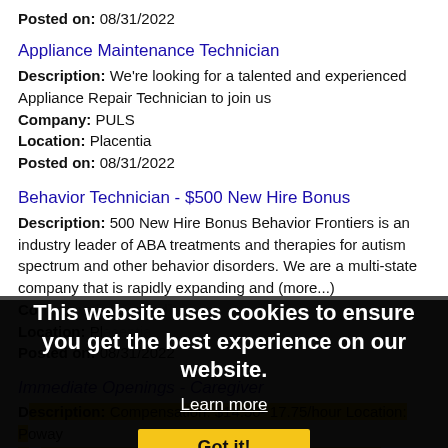Posted on: 08/31/2022
Appliance Maintenance Technician
Description: We're looking for a talented and experienced Appliance Repair Technician to join us
Company: PULS
Location: Placentia
Posted on: 08/31/2022
Behavior Technician - $500 New Hire Bonus
Description: 500 New Hire Bonus Behavior Frontiers is an industry leader of ABA treatments and therapies for autism spectrum and other behavior disorders. We are a multi-state company that is rapidly expanding and (more...)
Company: [obscured]
Location: Pl[acentia]
Posted on: 08/31/2022
Immediate Openings - Caregiver
Description: Compensation: $14.50- 17.75/hour Location: Poway Ca Hours: Full-time, part-time94 of our Care Pros say they have the tools they need to do their job well Looking to work for a home care company that values (more...)
Company: Honor
This website uses cookies to ensure you get the best experience on our website.
Learn more
Got it!